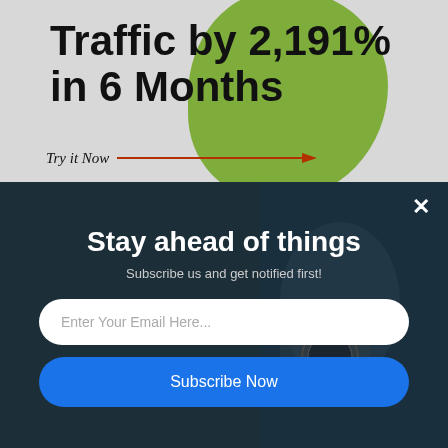Traffic by 2,191% in 6 Months
Try it Now →
[Figure (screenshot): Newsletter subscription popup modal with dark background showing a person holding a watch. Modal contains headline 'Stay ahead of things', subtext 'Subscribe us and get notified first!', email input field, and a blue Subscribe Now button. There is an X close button in the top right.]
Stay ahead of things
Subscribe us and get notified first!
Enter Your Email Here...
Subscribe Now